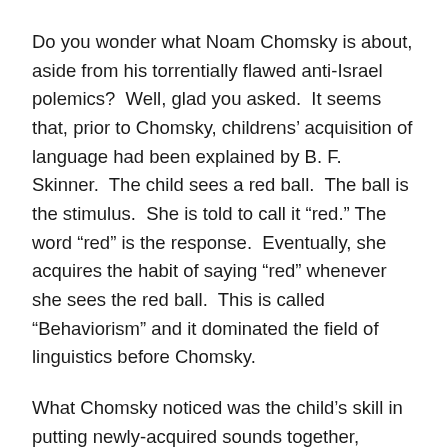Do you wonder what Noam Chomsky is about, aside from his torrentially flawed anti-Israel polemics?  Well, glad you asked.  It seems that, prior to Chomsky, childrens' acquisition of language had been explained by B. F. Skinner.  The child sees a red ball.  The ball is the stimulus.  She is told to call it “red.” The word “red” is the response.  Eventually, she acquires the habit of saying “red” whenever she sees the red ball.  This is called “Behaviorism” and it dominated the field of linguistics before Chomsky.
What Chomsky noticed was the child’s skill in putting newly-acquired sounds together, assembling them according to grammatical rules that were not acquired in this way, or even taught at all at the age when complex speech patterns first show themselves.  To try, on the